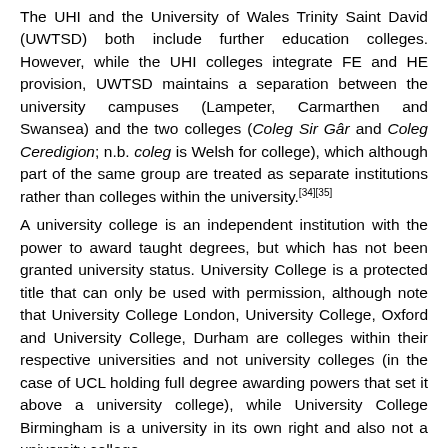The UHI and the University of Wales Trinity Saint David (UWTSD) both include further education colleges. However, while the UHI colleges integrate FE and HE provision, UWTSD maintains a separation between the university campuses (Lampeter, Carmarthen and Swansea) and the two colleges (Coleg Sir Gâr and Coleg Ceredigion; n.b. coleg is Welsh for college), which although part of the same group are treated as separate institutions rather than colleges within the university.[34][35]
A university college is an independent institution with the power to award taught degrees, but which has not been granted university status. University College is a protected title that can only be used with permission, although note that University College London, University College, Oxford and University College, Durham are colleges within their respective universities and not university colleges (in the case of UCL holding full degree awarding powers that set it above a university college), while University College Birmingham is a university in its own right and also not a university college.
United States [edit]